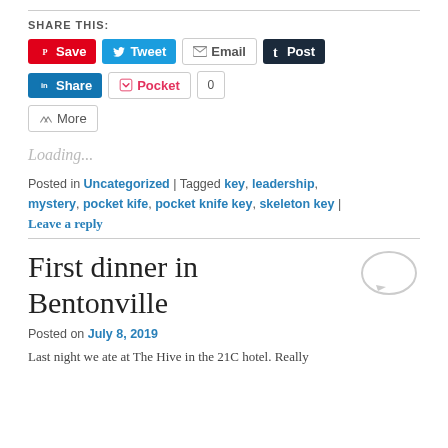SHARE THIS:
Save | Tweet | Email | Post | Share | Pocket 0 | More
Loading...
Posted in Uncategorized | Tagged key, leadership, mystery, pocket kife, pocket knife key, skeleton key |
Leave a reply
First dinner in Bentonville
Posted on July 8, 2019
Last night we ate at The Hive in the 21C hotel. Really